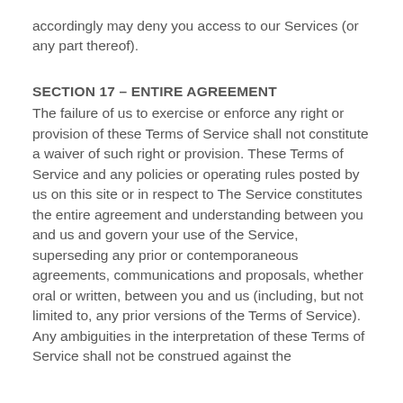accordingly may deny you access to our Services (or any part thereof).
SECTION 17 – ENTIRE AGREEMENT
The failure of us to exercise or enforce any right or provision of these Terms of Service shall not constitute a waiver of such right or provision. These Terms of Service and any policies or operating rules posted by us on this site or in respect to The Service constitutes the entire agreement and understanding between you and us and govern your use of the Service, superseding any prior or contemporaneous agreements, communications and proposals, whether oral or written, between you and us (including, but not limited to, any prior versions of the Terms of Service).
Any ambiguities in the interpretation of these Terms of Service shall not be construed against the